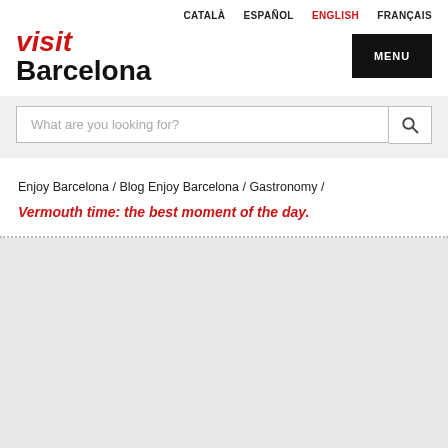CATALÀ / ESPAÑOL / ENGLISH / FRANÇAIS
visit Barcelona
MENU
What are you looking for?
Enjoy Barcelona / Blog Enjoy Barcelona / Gastronomy /
Vermouth time: the best moment of the day.